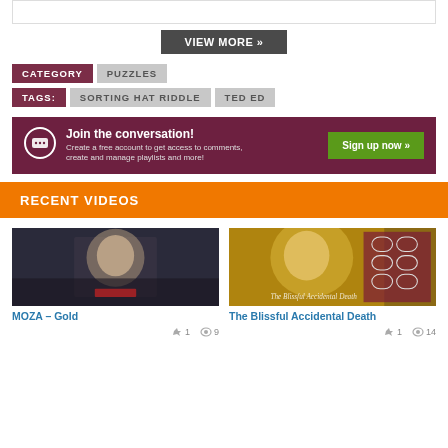[Figure (screenshot): Gray top bar (partial)]
VIEW MORE »
CATEGORY   PUZZLES
TAGS:   SORTING HAT RIDDLE   TED ED
[Figure (infographic): Join the conversation banner with Sign up now button]
RECENT VIDEOS
[Figure (photo): Video thumbnail: blonde woman in dark scene]
MOZA – Gold
👍 1   👁 9
[Figure (photo): Video thumbnail: The Blissful Accidental Death film poster]
The Blissful Accidental Death
👍 1   👁 14